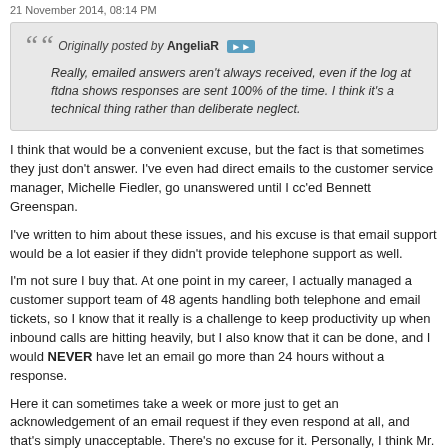21 November 2014, 08:14 PM
Originally posted by AngeliaR
Really, emailed answers aren't always received, even if the log at ftdna shows responses are sent 100% of the time. I think it's a technical thing rather than deliberate neglect.
I think that would be a convenient excuse, but the fact is that sometimes they just don't answer. I've even had direct emails to the customer service manager, Michelle Fiedler, go unanswered until I cc'ed Bennett Greenspan.
I've written to him about these issues, and his excuse is that email support would be a lot easier if they didn't provide telephone support as well.
I'm not sure I buy that. At one point in my career, I actually managed a customer support team of 48 agents handling both telephone and email tickets, so I know that it really is a challenge to keep productivity up when inbound calls are hitting heavily, but I also know that it can be done, and I would NEVER have let an email go more than 24 hours without a response.
Here it can sometimes take a week or more just to get an acknowledgement of an email request if they even respond at all, and that's simply unacceptable. There's no excuse for it. Personally, I think Mr. Greenspan really needs to do some housecleaning in the Customer Service department. They are really damaging FTDNA's reputation, and it doesn't have to be that way.